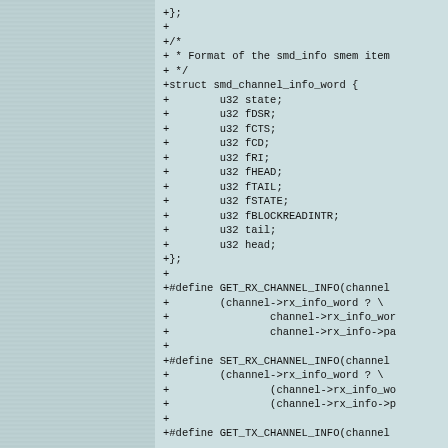Code diff showing smd_channel_info_word struct and related macros including GET_RX_CHANNEL_INFO, SET_RX_CHANNEL_INFO, and GET_TX_CHANNEL_INFO